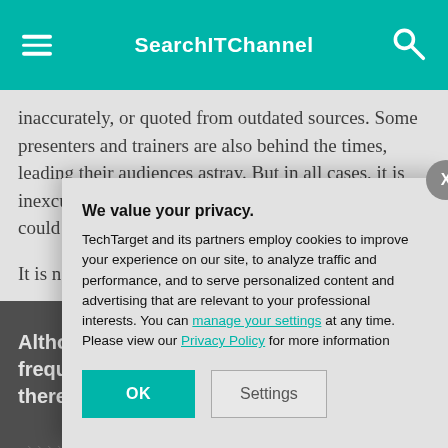SearchITChannel
inaccurately, or quoted from outdated sources. Some presenters and trainers are also behind the times, leading their audiences astray. But in all cases, it is inexcusable to present unconfirmed information that could cause others to run afoul of the law.
It is not difficult t... false information... implications of w... intentionally act...
Although c... frequently... there is no...
We value your privacy.
TechTarget and its partners employ cookies to improve your experience on our site, to analyze traffic and performance, and to serve personalized content and advertising that are relevant to your professional interests. You can manage your settings at any time. Please view our Privacy Policy for more information